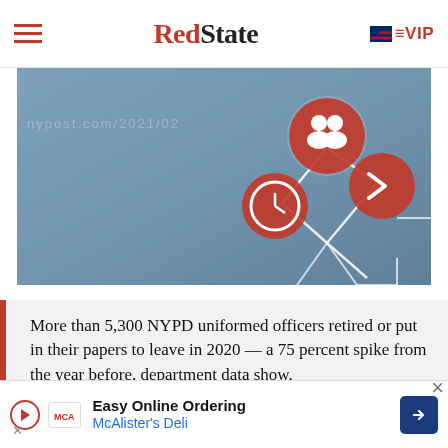RedState | VIP
[Figure (illustration): A stylized network/connection diagram on a grey-blue metallic background, showing circular icons with people, clock, and arrow symbols connected by white lines, representing a social or workflow network concept.]
More than 5,300 NYPD uniformed officers retired or put in their papers to leave in 2020 — a 75 percent spike from the year before, department data show.
The exodus — amid the pandemic, anti-cop hostility, riots and a skyrocketing number of NYC shootings — saw 2,600
[Figure (infographic): Advertisement banner: Easy Online Ordering — McAlister's Deli, with play button, MCA logo, and blue arrow navigation icon.]